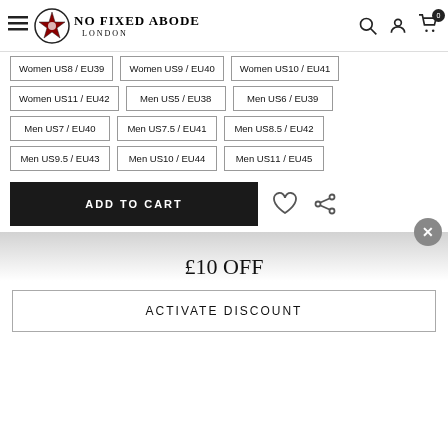NO FIXED ABODE LONDON - Navigation header with logo, search, account, and cart icons
Women US8 / EU39
Women US9 / EU40
Women US10 / EU41
Women US11 / EU42
Men US5 / EU38
Men US6 / EU39
Men US7 / EU40
Men US7.5 / EU41
Men US8.5 / EU42
Men US9.5 / EU43
Men US10 / EU44
Men US11 / EU45
ADD TO CART
£10 OFF
ACTIVATE DISCOUNT